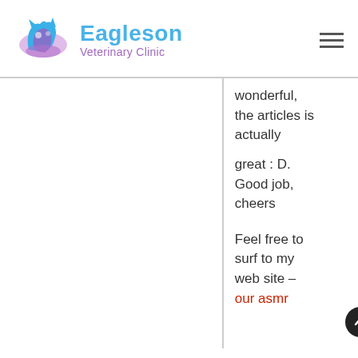[Figure (logo): Eagleson Veterinary Clinic logo with animal silhouettes and blue/purple color scheme]
wonderful, the articles is actually
great : D. Good job, cheers
Feel free to surf to my web site – our asmr